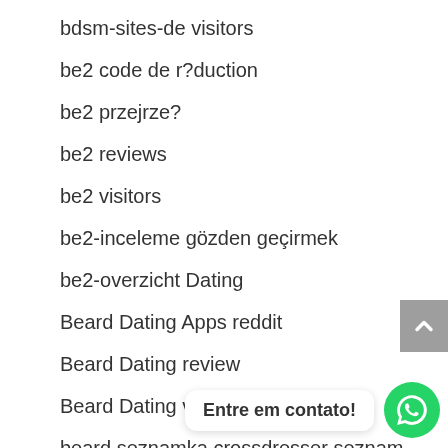bdsm-sites-de visitors
be2 code de r?duction
be2 przejrze?
be2 reviews
be2 visitors
be2-inceleme gözden geçirmek
be2-overzicht Dating
Beard Dating Apps reddit
Beard Dating review
Beard Dating visitors
beard seznamka crossdresser seznamovaci aplikace zdarma
BeautifulPeople Einloggen
Entre em contato!